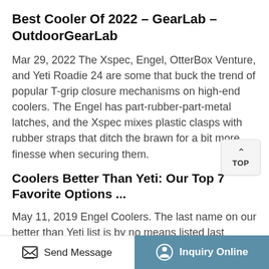Best Cooler Of 2022 – GearLab – OutdoorGearLab
Mar 29, 2022 The Xspec, Engel, OtterBox Venture, and Yeti Roadie 24 are some that buck the trend of popular T-grip closure mechanisms on high-end coolers. The Engel has part-rubber-part-metal latches, and the Xspec mixes plastic clasps with rubber straps that ditch the brawn for a bit more finesse when securing them.
Coolers Better Than Yeti: Our Top 7 Favorite Options ...
May 11, 2019 Engel Coolers. The last name on our better than Yeti list is by no means listed last because it's inferior to the rest. On the contrary; Engel Coolers is a name with over 5 decades of
Send Message   Inquiry Online